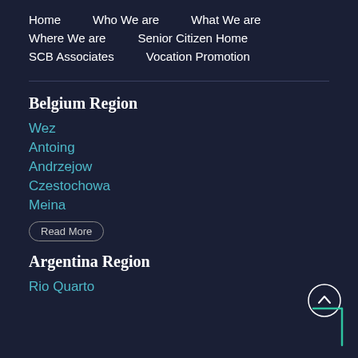Home  Who We are  What We are  Where We are  Senior Citizen Home  SCB Associates  Vocation Promotion
Belgium Region
Wez
Antoing
Andrzejow
Czestochowa
Meina
Read More
Argentina Region
Rio Quarto